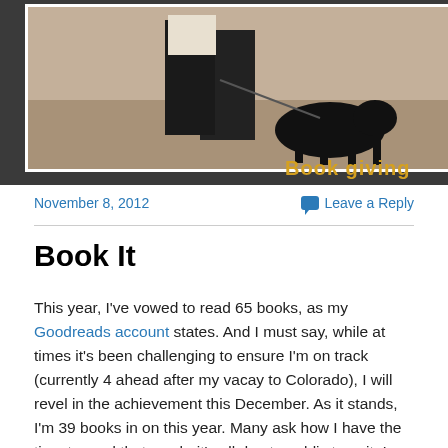[Figure (photo): Photo of a person with a black dog on a leash, dark background with 'Book giving' text in yellow]
November 8, 2012
Leave a Reply
Book It
This year, I've vowed to read 65 books, as my Goodreads account states. And I must say, while at times it's been challenging to ensure I'm on track (currently 4 ahead after my vacay to Colorado), I will revel in the achievement this December. As it stands, I'm 39 books in on this year. Many ask how I have the time to read that much, it's all due to public transit. I seriously wonder how I would spend my